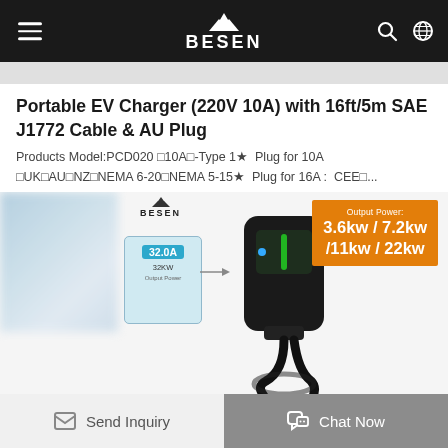BESEN
Portable EV Charger (220V 10A) with 16ft/5m SAE J1772 Cable & AU Plug
Products Model:PCD020 □10A□-Type 1☆  Plug for 10A □UK□AU□NZ□NEMA 6-20□NEMA 5-15☆  Plug for 16A : CEE□...
[Figure (photo): Portable EV charger device (black, wall-mounted style with cable) alongside product box, with BESEN logo and orange output power badge showing 3.6kw/7.2kw/11kw/22kw]
Send Inquiry
Chat Now